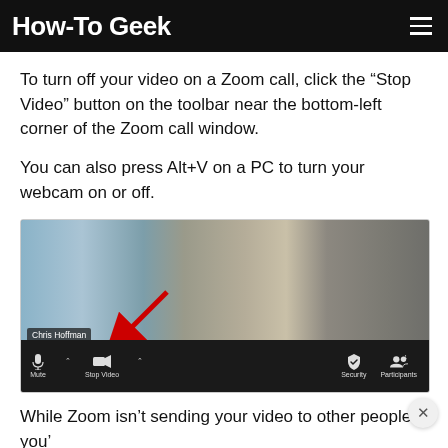How-To Geek
To turn off your video on a Zoom call, click the “Stop Video” button on the toolbar near the bottom-left corner of the Zoom call window.
You can also press Alt+V on a PC to turn your webcam on or off.
[Figure (screenshot): Screenshot of Zoom call window showing the bottom toolbar with Stop Video button highlighted by a red arrow. Toolbar shows Mute, Stop Video, Security, and Participants buttons. A name badge reading 'Chris Hoffman' is visible.]
While Zoom isn’t sending your video to other people, you’